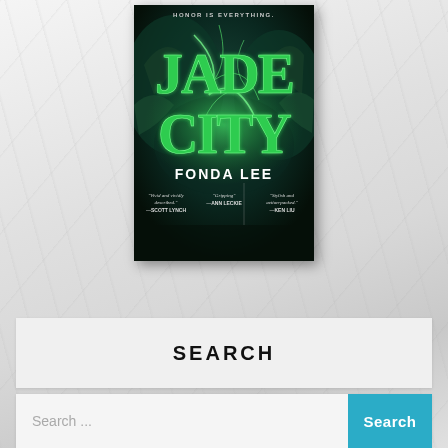[Figure (photo): Book cover of 'Jade City' by Fonda Lee. Dark teal/black background with green glowing dragon imagery. Large bright green block letters spell 'JADE CITY'. Below the title in white text: 'FONDA LEE'. At the top in small caps: 'HONOR IS EVERYTHING.' At the bottom are three blurbs: 'Vivid and vividly described.' —Scott Lynch, 'Gripping' —Ann Leckie, 'Stylish and action-packed.' —Ken Liu]
SEARCH
Search ...
Search